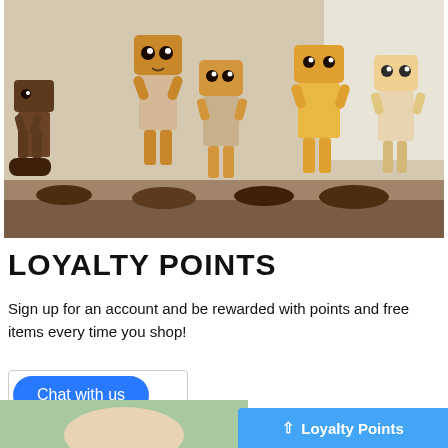[Figure (photo): A row of wooden toy robots with expressive faces, arranged on a wooden surface. The robots are made of carved wood pieces with round eyes and simple features. They vary in color from light natural wood to amber/golden brown tones.]
LOYALTY POINTS
Sign up for an account and be rewarded with points and free items every time you shop!
[Figure (screenshot): A 'Chat with us' button — a blue rounded-rectangle button with white text, inside a small white card area.]
[Figure (screenshot): A blue bar at the bottom right showing an upward arrow icon and 'Loyalty Points' label in white text. A green/light strip at the bottom left shows the top of a person's head/hair.]